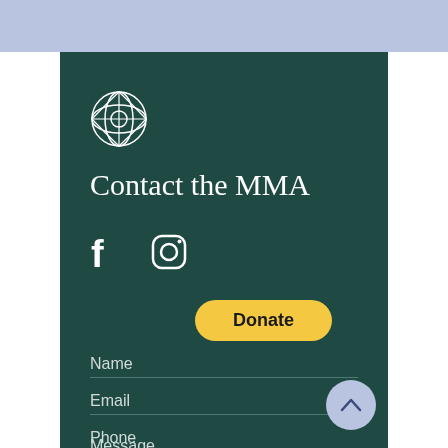[Figure (logo): MMA decorative floral/geometric logo in white outline on dark teal background]
Contact the MMA
[Figure (illustration): Facebook and Instagram social media icons in white]
Donate
Name
Email
Phone
Message